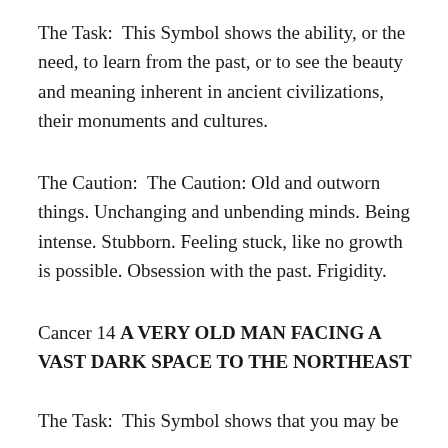The Task:  This Symbol shows the ability, or the need, to learn from the past, or to see the beauty and meaning inherent in ancient civilizations, their monuments and cultures.
The Caution:  The Caution: Old and outworn things. Unchanging and unbending minds. Being intense. Stubborn. Feeling stuck, like no growth is possible. Obsession with the past. Frigidity.
Cancer 14  A VERY OLD MAN FACING A VAST DARK SPACE TO THE NORTHEAST
The Task:  This Symbol shows that you may be